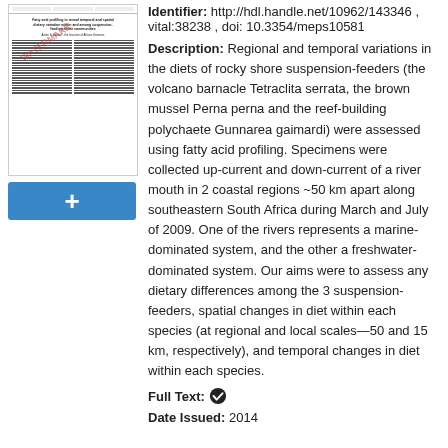[Figure (other): Thumbnail of a scientific paper page with text columns and a red diagonal watermark]
+ (Add button)
Identifier: http://hdl.handle.net/10962/143346 , vital:38238 , doi: 10.3354/meps10581
Description: Regional and temporal variations in the diets of rocky shore suspension-feeders (the volcano barnacle Tetraclita serrata, the brown mussel Perna perna and the reef-building polychaete Gunnarea gaimardi) were assessed using fatty acid profiling. Specimens were collected up-current and down-current of a river mouth in 2 coastal regions ~50 km apart along southeastern South Africa during March and July of 2009. One of the rivers represents a marine-dominated system, and the other a freshwater-dominated system. Our aims were to assess any dietary differences among the 3 suspension-feeders, spatial changes in diet within each species (at regional and local scales—50 and 15 km, respectively), and temporal changes in diet within each species.
Full Text: ✔
Date Issued: 2014